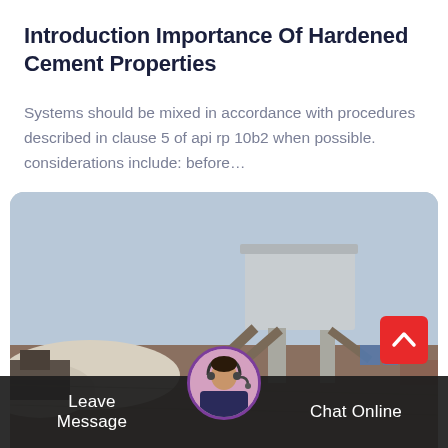Introduction Importance Of Hardened Cement Properties
Systems should be mixed in accordance with procedures described in clause 5 of api rp 10b2 when possible. considerations include: before…
[Figure (photo): A construction site photo showing large concrete structures and heavy machinery under a hazy sky.]